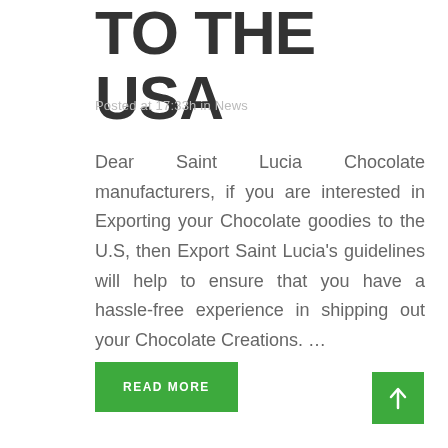TO THE USA
Posted at 17:33h in News
Dear Saint Lucia Chocolate manufacturers, if you are interested in Exporting your Chocolate goodies to the U.S, then Export Saint Lucia's guidelines will help to ensure that you have a hassle-free experience in shipping out your Chocolate Creations. …